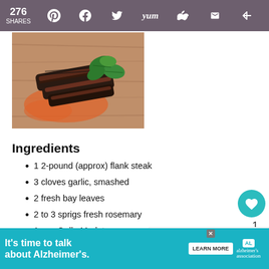276 SHARES
[Figure (photo): Sliced flank steak with fresh mint/basil garnish on a wooden surface with orange sauce]
Ingredients
1 2-pound (approx) flank steak
3 cloves garlic, smashed
2 fresh bay leaves
2 to 3 sprigs fresh rosemary
1 cup Gallo Merlot
1/4 cup olive oil
Kosher salt
[Figure (screenshot): What's Next widget showing Chili Rellenos with Roasted...]
[Figure (infographic): Advertisement banner: It's time to talk about Alzheimer's. LEARN MORE. Alzheimer's Association logo.]